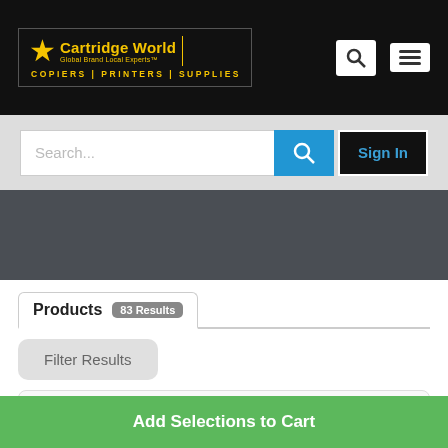[Figure (logo): Cartridge World logo — Global Brand Local Experts, COPIERS | PRINTERS | SUPPLIES on black background]
[Figure (screenshot): Search icon (magnifying glass) and hamburger menu icon on white background]
[Figure (screenshot): Search bar with placeholder 'Search...', blue search button with magnifying glass icon, and 'Sign In' button]
[Figure (screenshot): Dark grey banner area]
Products  83 Results
Filter Results
Kantek ®
Adjustable Standard
Add Selections to Cart